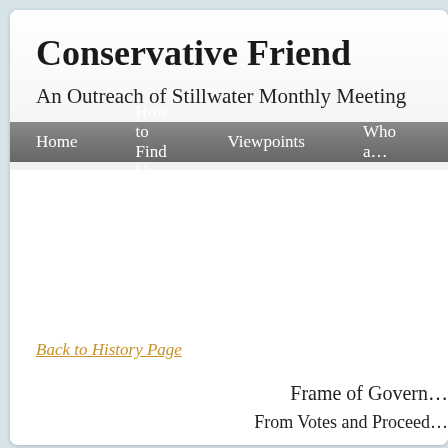Conservative Friend
An Outreach of Stillwater Monthly Meeting
Home   How to Find Us   Viewpoints   Who a…
Back to History Page
Frame of Govern…
From Votes and Proceed…
The frame of the government of the province of Pensilva… Governor arid divers freemen of the aforesaid province… that shall be held, if they see meet.
When the great and wise God had made the world, of a… him for so great a charge and trust, he did not only qual… goodness was equally his honour and his happiness, a… compulsive means; the precept of divine love and truth,… provailing against duty, made a lamentable breach uno…